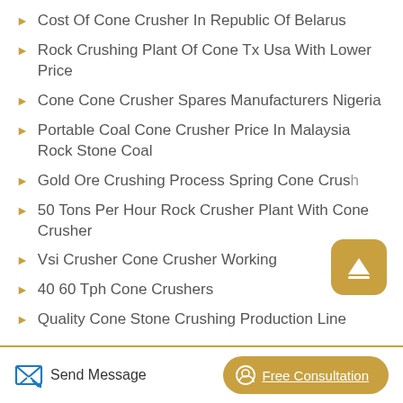Cost Of Cone Crusher In Republic Of Belarus
Rock Crushing Plant Of Cone Tx Usa With Lower Price
Cone Cone Crusher Spares Manufacturers Nigeria
Portable Coal Cone Crusher Price In Malaysia Rock Stone Coal
Gold Ore Crushing Process Spring Cone Crus…
50 Tons Per Hour Rock Crusher Plant With Cone Crusher
Vsi Crusher Cone Crusher Working
40 60 Tph Cone Crushers
Quality Cone Stone Crushing Production Line
Send Message | Free Consultation